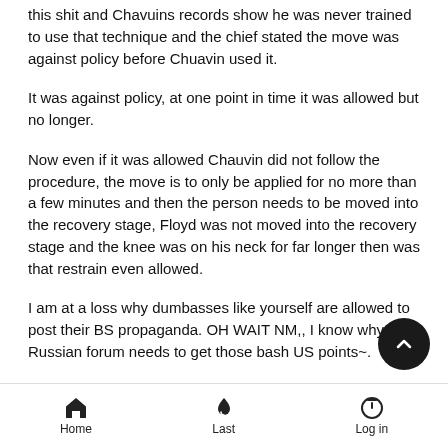this shit and Chavuins records show he was never trained to use that technique and the chief stated the move was against policy before Chuavin used it.
It was against policy, at one point in time it was allowed but no longer.
Now even if it was allowed Chauvin did not follow the procedure, the move is to only be applied for no more than a few minutes and then the person needs to be moved into the recovery stage, Floyd was not moved into the recovery stage and the knee was on his neck for far longer then was that restrain even allowed.
I am at a loss why dumbasses like yourself are allowed to post their BS propaganda. OH WAIT NM,, I know why pro Russian forum needs to get those bash US points~.
So in essence you lied, are wrong and are trying to make it seem
Home   Last   Log in